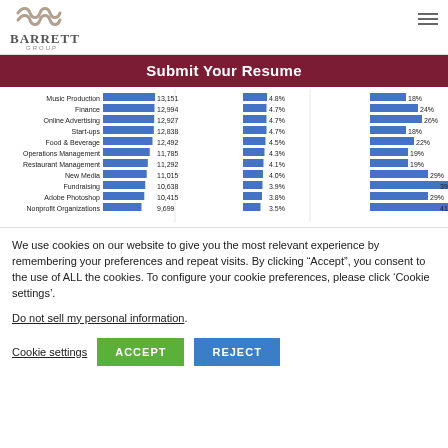[Figure (logo): Barrett Group logo with stylized wave mark above the text 'BARRETT GROUP']
Submit Your Resume
[Figure (bar-chart): Skills chart (partial)]
We use cookies on our website to give you the most relevant experience by remembering your preferences and repeat visits. By clicking “Accept”, you consent to the use of ALL the cookies. To configure your cookie preferences, please click ‘Cookie settings’.
Do not sell my personal information.
Cookie settings  ACCEPT  REJECT